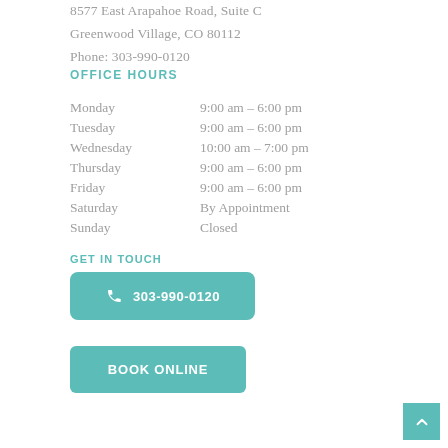8577 East Arapahoe Road, Suite C
Greenwood Village, CO 80112
Phone: 303-990-0120
OFFICE HOURS
| Day | Hours |
| --- | --- |
| Monday | 9:00 am – 6:00 pm |
| Tuesday | 9:00 am – 6:00 pm |
| Wednesday | 10:00 am – 7:00 pm |
| Thursday | 9:00 am – 6:00 pm |
| Friday | 9:00 am – 6:00 pm |
| Saturday | By Appointment |
| Sunday | Closed |
GET IN TOUCH
303-990-0120
BOOK ONLINE